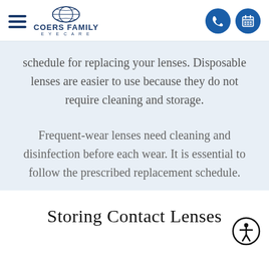Coers Family Eyecare — navigation header with hamburger menu, logo, phone and calendar icons
schedule for replacing your lenses. Disposable lenses are easier to use because they do not require cleaning and storage.
Frequent-wear lenses need cleaning and disinfection before each wear. It is essential to follow the prescribed replacement schedule.
Storing Contact Lenses